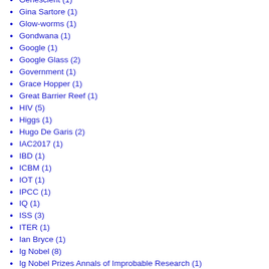Genescient (1)
Gina Sartore (1)
Glow-worms (1)
Gondwana (1)
Google (1)
Google Glass (2)
Government (1)
Grace Hopper (1)
Great Barrier Reef (1)
HIV (5)
Higgs (1)
Hugo De Garis (2)
IAC2017 (1)
IBD (1)
ICBM (1)
IOT (1)
IPCC (1)
IQ (1)
ISS (3)
ITER (1)
Ian Bryce (1)
Ig Nobel (8)
Ig Nobel Prizes Annals of Improbable Research (1)
IgNobel (1)
IgNobel prize (1)
Issued (1)